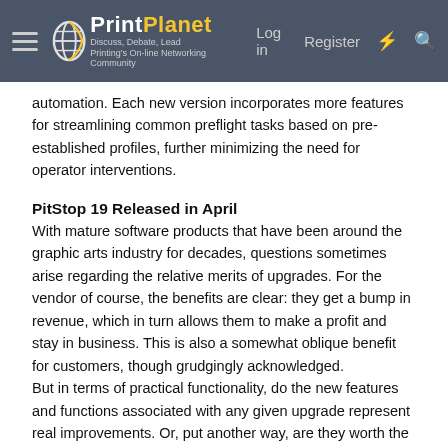PrintPlanet – Discuss, Debate, Lead – Printing's On-line Networking Community | Log in | Register
automation. Each new version incorporates more features for streamlining common preflight tasks based on pre-established profiles, further minimizing the need for operator interventions.
PitStop 19 Released in April
With mature software products that have been around the graphic arts industry for decades, questions sometimes arise regarding the relative merits of upgrades. For the vendor of course, the benefits are clear: they get a bump in revenue, which in turn allows them to make a profit and stay in business. This is also a somewhat oblique benefit for customers, though grudgingly acknowledged.
But in terms of practical functionality, do the new features and functions associated with any given upgrade represent real improvements. Or, put another way, are they worth the price in terms of value?
Take Microsoft Word for example. As far as I'm concerned this iconic word processing software was doing everything